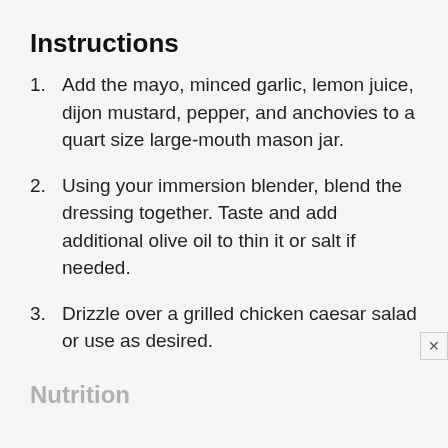Instructions
Add the mayo, minced garlic, lemon juice, dijon mustard, pepper, and anchovies to a quart size large-mouth mason jar.
Using your immersion blender, blend the dressing together. Taste and add additional olive oil to thin it or salt if needed.
Drizzle over a grilled chicken caesar salad or use as desired.
Nutrition